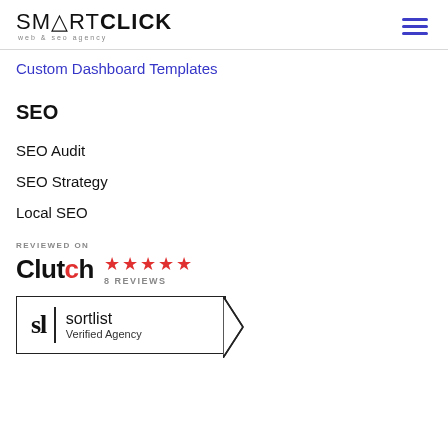SMARTCLICK web & seo agency
Custom Dashboard Templates
SEO
SEO Audit
SEO Strategy
Local SEO
[Figure (logo): Reviewed on Clutch badge with 5 red stars and 8 REVIEWS text]
[Figure (logo): Sortlist Verified Agency badge with sl logo and arrow banner shape]